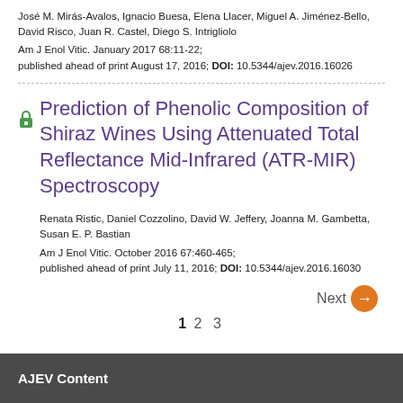José M. Mirás-Avalos, Ignacio Buesa, Elena Llacer, Miguel A. Jiménez-Bello, David Risco, Juan R. Castel, Diego S. Intrigliolo
Am J Enol Vitic. January 2017 68:11-22; published ahead of print August 17, 2016; DOI: 10.5344/ajev.2016.16026
Prediction of Phenolic Composition of Shiraz Wines Using Attenuated Total Reflectance Mid-Infrared (ATR-MIR) Spectroscopy
Renata Ristic, Daniel Cozzolino, David W. Jeffery, Joanna M. Gambetta, Susan E. P. Bastian
Am J Enol Vitic. October 2016 67:460-465; published ahead of print July 11, 2016; DOI: 10.5344/ajev.2016.16030
AJEV Content